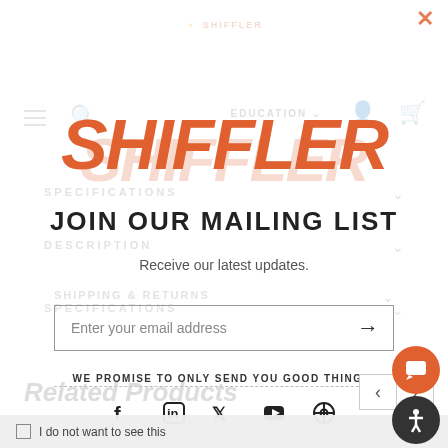[Figure (screenshot): Shiffler Education website screenshot used as faded background behind modal]
JOIN OUR MAILING LIST
Receive our latest updates.
Enter your email address
WE PROMISE TO ONLY SEND YOU GOOD THINGS!
[Figure (infographic): Row of social media icons: Facebook, LinkedIn, Twitter, YouTube, Pinterest]
Related Products
I do not want to see this